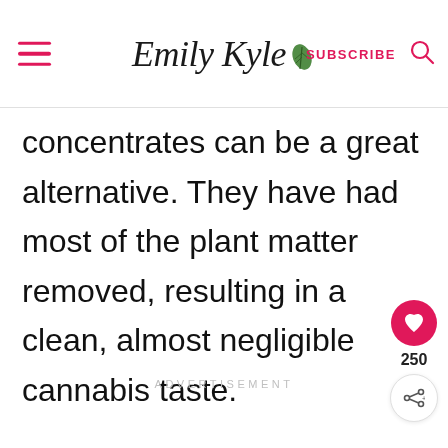Emily Kyle | SUBSCRIBE
concentrates can be a great alternative. They have had most of the plant matter removed, resulting in a clean, almost negligible cannabis taste.
ADVERTISEMENT